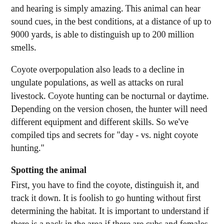and hearing is simply amazing. This animal can hear sound cues, in the best conditions, at a distance of up to 9000 yards, is able to distinguish up to 200 million smells.
Coyote overpopulation also leads to a decline in ungulate populations, as well as attacks on rural livestock. Coyote hunting can be nocturnal or daytime. Depending on the version chosen, the hunter will need different equipment and different skills. So we've compiled tips and secrets for "day - vs. night coyote hunting."
Spotting the animal
First, you have to find the coyote, distinguish it, and track it down. It is foolish to go hunting without first determining the habitat. It is important to understand if there is a pack in the area if there are cubs and females. During hunting, it is important